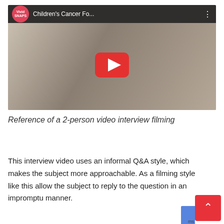[Figure (screenshot): YouTube video thumbnail showing a 2-person interview filming. Top bar shows Vivid Snaps logo and title 'Children's Cancer Fo...' with three-dot menu. A red YouTube play button is centered on the thumbnail. The background shows two people, one facing away and one smiling at the camera in a dark shirt.]
Reference of a 2-person video interview filming
This interview video uses an informal Q&A style, which makes the subject more approachable. As a filming style like this allow the subject to reply to the question in an impromptu manner.